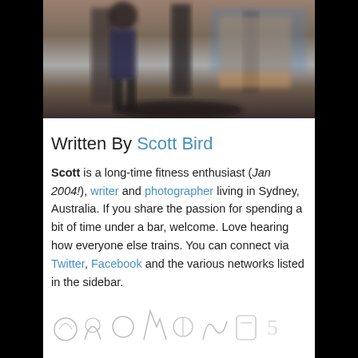[Figure (photo): Blurred photo of a person in a gym setting, dark background, gym equipment visible]
Written By Scott Bird
Scott is a long-time fitness enthusiast (Jan 2004!), writer and photographer living in Sydney, Australia. If you share the passion for spending a bit of time under a bar, welcome. Love hearing how everyone else trains. You can connect via Twitter, Facebook and the various networks listed in the sidebar.
[Figure (illustration): Partial signature or decorative script at the bottom of the page]